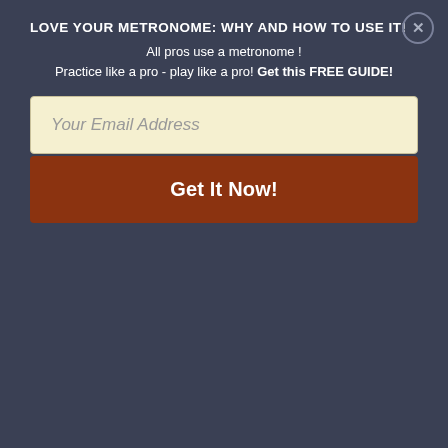LOVE YOUR METRONOME: WHY AND HOW TO USE IT!
All pros use a metronome ! Practice like a pro - play like a pro! Get this FREE GUIDE!
Your Email Address
Get It Now!
who allow their desire to grow, and become powerful. You must allow yourself to feel this need and desire, and use its energy to take the steps necessary to get the information and training you need. You will then overcome all the obstacles all guitar players encounter along the way, and you will find all the talent you need to be the player